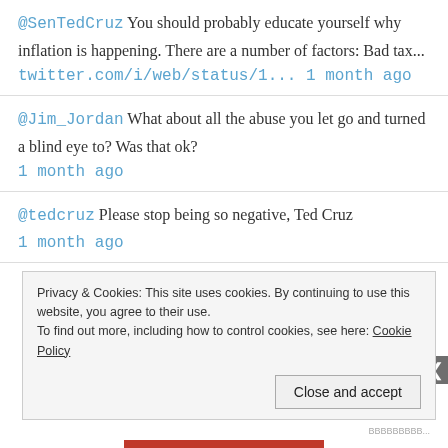@SenTedCruz You should probably educate yourself why inflation is happening. There are a number of factors: Bad tax... twitter.com/i/web/status/1... 1 month ago
@Jim_Jordan What about all the abuse you let go and turned a blind eye to? Was that ok? 1 month ago
@tedcruz Please stop being so negative, Ted Cruz 1 month ago
Privacy & Cookies: This site uses cookies. By continuing to use this website, you agree to their use. To find out more, including how to control cookies, see here: Cookie Policy
Close and accept